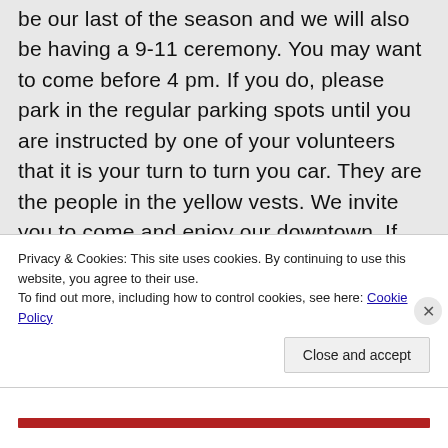be our last of the season and we will also be having a 9-11 ceremony. You may want to come before 4 pm. If you do, please park in the regular parking spots until you are instructed by one of your volunteers that it is your turn to turn you car. They are the people in the yellow vests. We invite you to come and enjoy our downtown. If you do come early, you MUST be back to you car no later than 4 pm.
Privacy & Cookies: This site uses cookies. By continuing to use this website, you agree to their use.
To find out more, including how to control cookies, see here: Cookie Policy